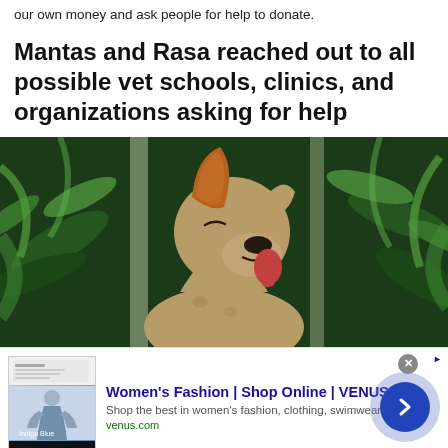our own money and ask people for help to donate.
Mantas and Rasa reached out to all possible vet schools, clinics, and organizations asking for help
[Figure (photo): A light brown dog with orange-tipped ears, mouth open and tongue out, photographed outdoors against a lush green tropical plant background.]
[Figure (screenshot): Advertisement banner for Women's Fashion | Shop Online | VENUS. Shows a website screenshot thumbnail on the left, ad title in blue, description 'Shop the best in women's fashion, clothing, swimwear', URL venus.com in green, a circular close button (x), and a blue arrow button on the right.]